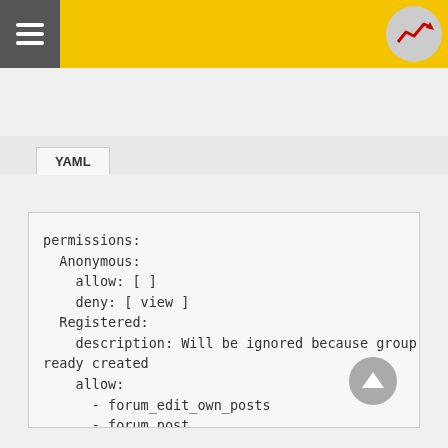YAML tab header with navigation
permissions:
  Anonymous:
    allow: [  ]
    deny: [ view ]
  Registered:
    description: Will be ignored because group is already created
    allow:
      - forum_edit_own_posts
      - forum_post
      - forum_post_topic
      - forum_read
      - forums_report
      - forum_vote
    deny: [  ]
  Editors:
    description: Trusted users
    allow:
      - admin_forum
  Admins: